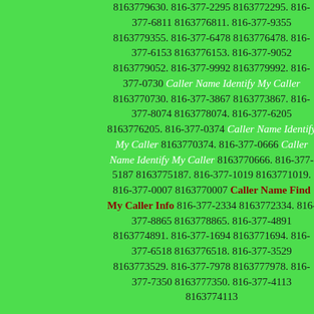8163779630. 816-377-2295 8163772295. 816-377-6811 8163776811. 816-377-9355 8163779355. 816-377-6478 8163776478. 816-377-6153 8163776153. 816-377-9052 8163779052. 816-377-9992 8163779992. 816-377-0730 Caller Name Identify My Caller 8163770730. 816-377-3867 8163773867. 816-377-8074 8163778074. 816-377-6205 8163776205. 816-377-0374 Caller Name Identify My Caller 8163770374. 816-377-0666 Caller Name Identify My Caller 8163770666. 816-377-5187 8163775187. 816-377-1019 8163771019. 816-377-0007 8163770007 Caller Name Find My Caller Info 816-377-2334 8163772334. 816-377-8865 8163778865. 816-377-4891 8163774891. 816-377-1694 8163771694. 816-377-6518 8163776518. 816-377-3529 8163773529. 816-377-7978 8163777978. 816-377-7350 8163777350. 816-377-4113 8163774113